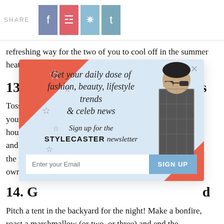SHARE
refreshing way for the two of you to cool off in the summer heat.
13. Go to Expensive Open Houses
Toss on a ... hoever you'd like ... open houses a ... at you and you ... you own the place ... ually own the ...
[Figure (infographic): Newsletter signup popup overlay for StyleCaster. Light blue background with red/orange triangle in top-left corner, stars decorating background, photo of woman in plaid jacket wearing sunglasses. Text reads: 'Get your daily dose of fashion, beauty, lifestyle trends & celeb news. Sign up for the STYLECASTER newsletter'. Email input field with SIGN UP button.]
14. G...d
Pitch a tent in the backyard for the night! Make a bonfire, roast a marshmallow (or two, or three) and end the evening with some stargazing—there's nothing more